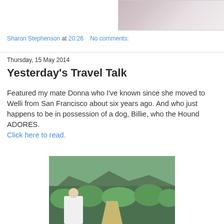[Figure (photo): Partial photo at top of page, blurred/faded image with pinkish-gray tones]
Sharon Stephenson at 20:26    No comments:
Thursday, 15 May 2014
Yesterday's Travel Talk
Featured my mate Donna who I've known since she moved to Welli from San Francisco about six years ago. And who just happens to be in possession of a dog, Billie, who the Hound ADORES.
Click here to read.
[Figure (photo): Photo of a woman in white shirt standing in a vineyard with mountains and green foliage in the background]